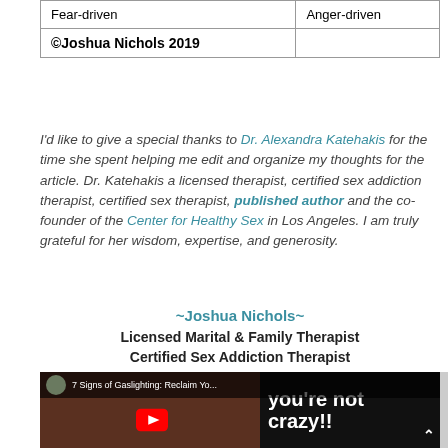| Fear-driven | Anger-driven |
| ©Joshua Nichols 2019 |  |
I'd like to give a special thanks to Dr. Alexandra Katehakis for the time she spent helping me edit and organize my thoughts for the article. Dr. Katehakis a licensed therapist, certified sex addiction therapist, certified sex therapist, published author and the co-founder of the Center for Healthy Sex in Los Angeles.  I am truly grateful for her wisdom, expertise, and generosity.
~Joshua Nichols~
Licensed Marital & Family Therapist
Certified Sex Addiction Therapist
[Figure (screenshot): YouTube video thumbnail for '7 Signs of Gaslighting: Reclaim Yo...' showing a bald man's face on the left and white bold text 'you're not crazy!!' on a dark background on the right, with a YouTube play button overlay and a channel avatar in the top-left.]